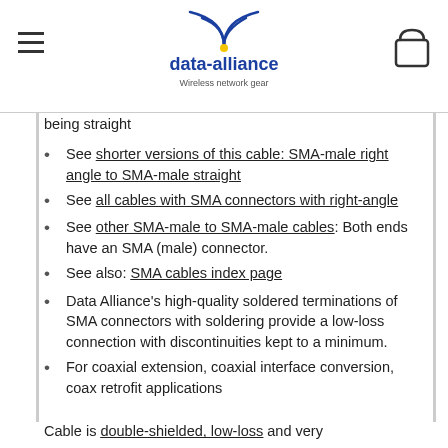data-alliance — Wireless network gear
being straight
See shorter versions of this cable: SMA-male right angle to SMA-male straight
See all cables with SMA connectors with right-angle
See other SMA-male to SMA-male cables: Both ends have an SMA (male) connector.
See also: SMA cables index page
Data Alliance's high-quality soldered terminations of SMA connectors with soldering provide a low-loss connection with discontinuities kept to a minimum.
For coaxial extension, coaxial interface conversion, coax retrofit applications
Cable is double-shielded, low-loss and very